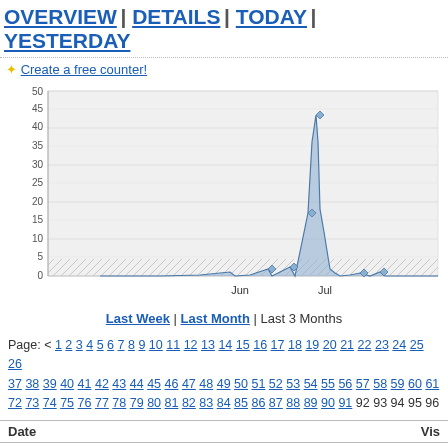OVERVIEW | DETAILS | TODAY | YESTERDAY
✦ Create a free counter!
[Figure (area-chart): Visits over time]
Last Week | Last Month | Last 3 Months
Page: < 1 2 3 4 5 6 7 8 9 10 11 12 13 14 15 16 17 18 19 20 21 22 23 24 25 26 37 38 39 40 41 42 43 44 45 46 47 48 49 50 51 52 53 54 55 56 57 58 59 60 61 72 73 74 75 76 77 78 79 80 81 82 83 84 85 86 87 88 89 90 91 92 93 94 95 96
| Date | Vis |
| --- | --- |
| March 24, 2009 | 13 |
| March 23, 2009 | 40 |